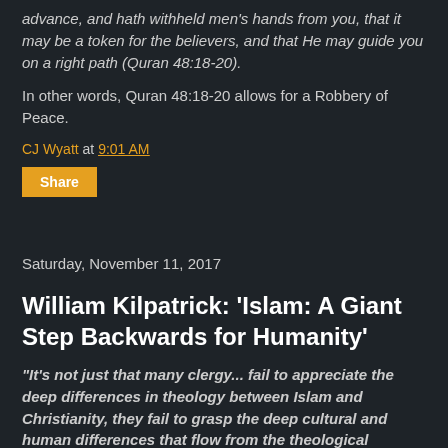advance, and hath withheld men's hands from you, that it may be a token for the believers, and that He may guide you on a right path (Quran 48:18-20).
In other words, Quran 48:18-20 allows for a Robbery of Peace.
CJ Wyatt at 9:01 AM
Share
Saturday, November 11, 2017
William Kilpatrick: 'Islam: A Giant Step Backwards for Humanity'
"It's not just that many clergy... fail to appreciate the deep differences in theology between Islam and Christianity, they fail to grasp the deep cultural and human differences that flow from the theological differences. To put the matter bluntly, Christianity is a